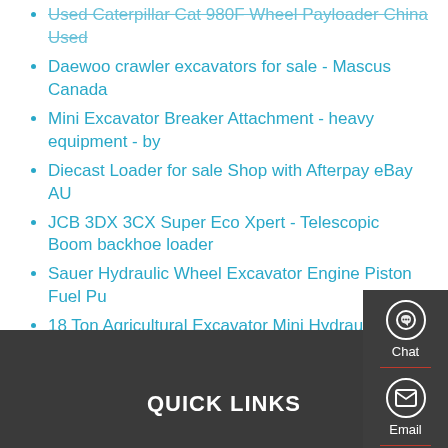Used Caterpillar Cat 980F Wheel Payloader China Used
Daewoo crawler excavators for sale - Mascus Canada
Mini Excavator Breaker Attachment - heavy equipment - by
Diecast Loader for sale Shop with Afterpay eBay AU
JCB 3DX 3CX Super Eco Xpert - Telescopic Boom backhoe loader
Sauer Hydraulic Wheel Excavator Engine Piston Fuel Pu
18 Ton Agricultural Excavator Mini Hydraulic Excavators
Terex Terex V350S Skid Steer Loader Specs Dimensions
Mini Excavator - Jining Zhineng Construction Machinery Co
China Hopper Auto Loader Operates on Compressed Ai
Fleco Attachments - Excavator Attachments for Sale
[Figure (infographic): Sidebar widget panel with three buttons: Chat (headset icon), Email (envelope icon), Contact (speech bubble icon), separated by red dividers on a dark grey background]
QUICK LINKS